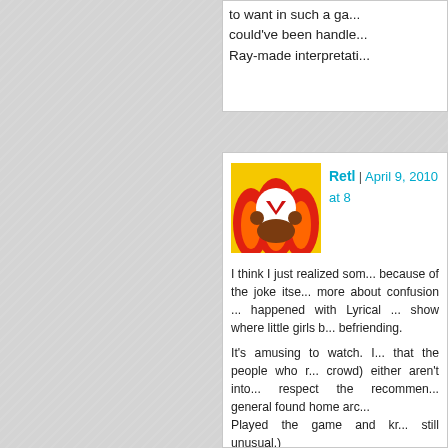to want in such a game... could've been handle... Ray-made interpretati...
Retl | April 9, 2010 at 8...
[Figure (illustration): Avatar image showing a stylized character with flames, red and yellow colors with a heart/key symbol]
I think I just realized something because of the joke itself, more about confusion happened with Lyrical ... show where little girls b... befriending.

It's amusing to watch. I... that the people who r... crowd) either aren't into... respect the recommen... general found home arc... Played the game and kr... still unusual.)
Played the game but d... the game!?
Knew about the miniga... guys.
Never played the game ... the 2PStart I know!
Completely unfamiliar ... HAPPENED TO THE C...

I'm still amused with th...